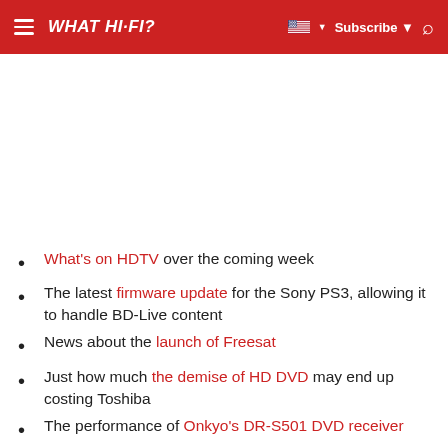WHAT HI-FI?  Subscribe
What's on HDTV over the coming week
The latest firmware update for the Sony PS3, allowing it to handle BD-Live content
News about the launch of Freesat
Just how much the demise of HD DVD may end up costing Toshiba
The performance of Onkyo's DR-S501 DVD receiver